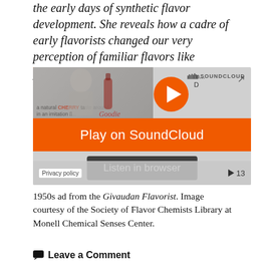the early days of synthetic flavor development. She reveals how a cadre of early flavorists changed our very perception of familiar flavors like pineapple.
[Figure (screenshot): SoundCloud embedded audio player with orange 'Play on SoundCloud' banner and 'Listen in browser' pill overlay, showing a vintage cherry flavor ad thumbnail.]
1950s ad from the Givaudan Flavorist. Image courtesy of the Society of Flavor Chemists Library at Monell Chemical Senses Center.
Leave a Comment